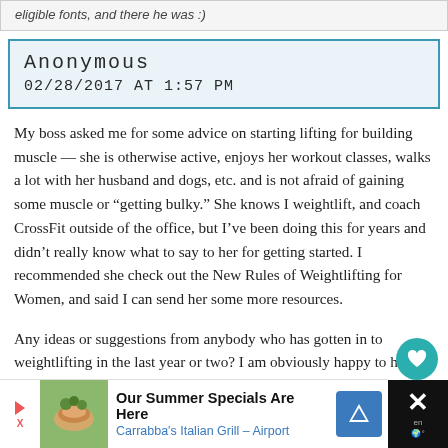eligible fonts, and there he was :)
Anonymous
02/28/2017 AT 1:57 PM
My boss asked me for some advice on starting lifting for building muscle — she is otherwise active, enjoys her workout classes, walks a lot with her husband and dogs, etc. and is not afraid of gaining some muscle or "getting bulky." She knows I weightlift, and coach CrossFit outside of the office, but I've been doing this for years and didn't really know what to say to her for getting started. I recommended she check out the New Rules of Weightlifting for Women, and said I can send her some more resources.
Any ideas or suggestions from anybody who has gotten in to weightlifting in the last year or two? I am obviously happy to help her out in any way I can,
[Figure (other): Advertisement banner: Our Summer Specials Are Here - Carrabba's Italian Grill - Airport, with food image and navigation icon]